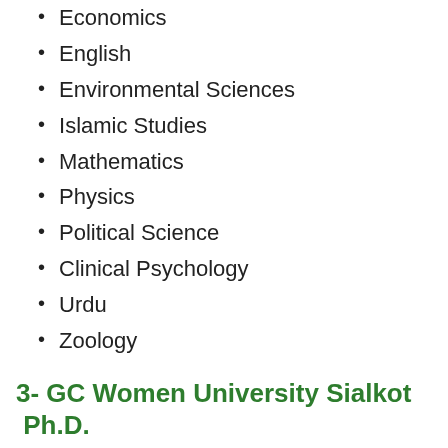Economics
English
Environmental Sciences
Islamic Studies
Mathematics
Physics
Political Science
Clinical Psychology
Urdu
Zoology
3- GC Women University Sialkot Ph.D. Admissions 2021
Botany
Chemistry
Economics
English
Islamic Studies